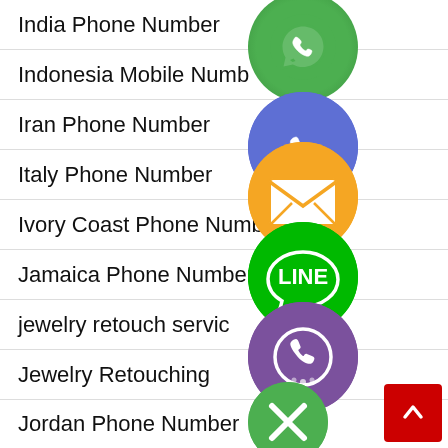India Phone Number
Indonesia Mobile Number
Iran Phone Number
Italy Phone Number
Ivory Coast Phone Number
Jamaica Phone Number
jewelry retouch service
Jewelry Retouching
Jordan Phone Number